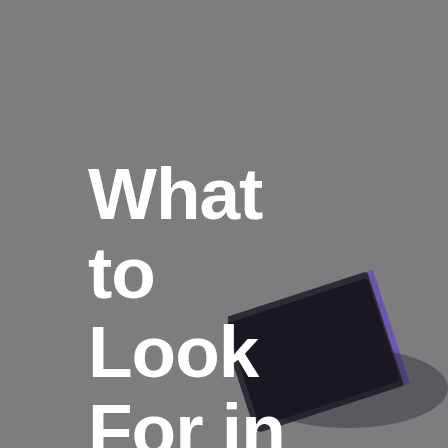[Figure (photo): Cover page image with grey background and partial laptop/tablet device visible at bottom right, overlaid with large white bold title text reading 'What to Look For in']
What to Look For in